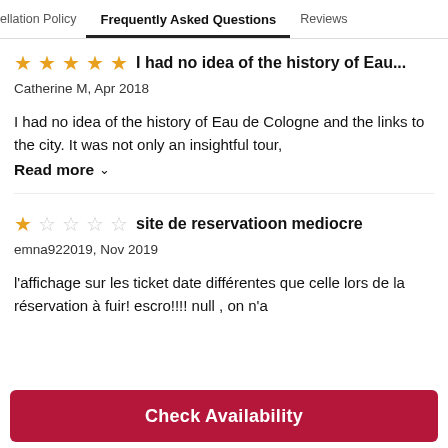ellation Policy   Frequently Asked Questions   Reviews
★★★★★ I had no idea of the history of Eau...
Catherine M, Apr 2018
I had no idea of the history of Eau de Cologne and the links to the city. It was not only an insightful tour,
Read more ∨
★☆☆☆☆ site de reservatioon mediocre
emna922019, Nov 2019
l'affichage sur les ticket date différentes que celle lors de la réservation à fuir! escro!!!! null , on n'a
Check Availability